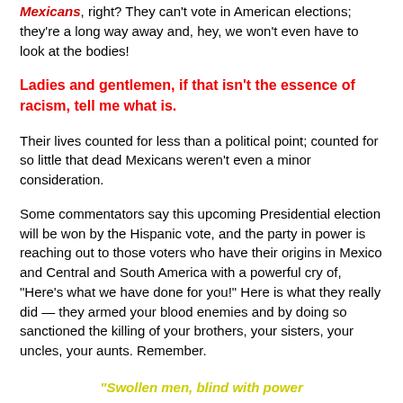Mexicans, right? They can't vote in American elections; they're a long way away and, hey, we won't even have to look at the bodies!
Ladies and gentlemen, if that isn't the essence of racism, tell me what is.
Their lives counted for less than a political point; counted for so little that dead Mexicans weren't even a minor consideration.
Some commentators say this upcoming Presidential election will be won by the Hispanic vote, and the party in power is reaching out to those voters who have their origins in Mexico and Central and South America with a powerful cry of, "Here's what we have done for you!" Here is what they really did — they armed your blood enemies and by doing so sanctioned the killing of your brothers, your sisters, your uncles, your aunts. Remember.
"Swollen men, blind with power
Break the rules, one by one